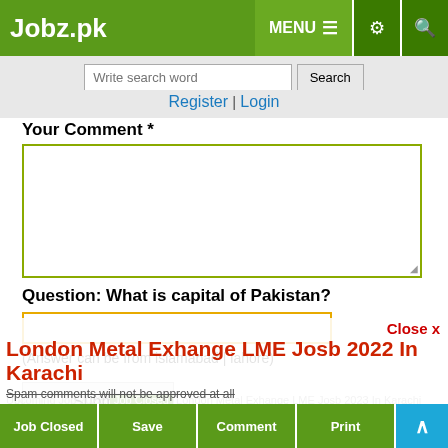Jobz.pk — MENU, settings, search icons
Write search word [Search]
Register | Login
Your Comment *
Question: What is capital of Pakistan?
(Answer can be from islamabad | lahore)
Submit
Close x
London Metal Exhange LME Josb 2022 In Karachi
Spam comments will not be approved at all
Share | WhatsApp | Tweet | Share | Pin | Email
Upcoming Job 2023: London Metal Exhange LME Josb 2023 In Karachi
Be first to give comments on this job and win
Job Closed | Save | Comment | Print | ^